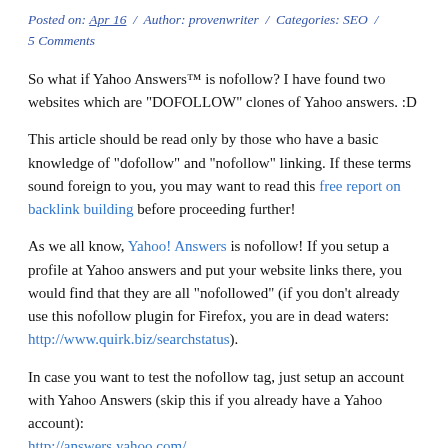Posted on: Apr 16 / Author: provenwriter / Categories: SEO / 5 Comments
So what if Yahoo Answers™ is nofollow? I have found two websites which are "DOFOLLOW" clones of Yahoo answers. :D
This article should be read only by those who have a basic knowledge of "dofollow" and "nofollow" linking. If these terms sound foreign to you, you may want to read this free report on backlink building before proceeding further!
As we all know, Yahoo! Answers is nofollow! If you setup a profile at Yahoo answers and put your website links there, you would find that they are all "nofollowed" (if you don't already use this nofollow plugin for Firefox, you are in dead waters: http://www.quirk.biz/searchstatus).
In case you want to test the nofollow tag, just setup an account with Yahoo Answers (skip this if you already have a Yahoo account): http://answers.yahoo.com/
Once done, click on the "My Profile->Edit My Info" link at the top right